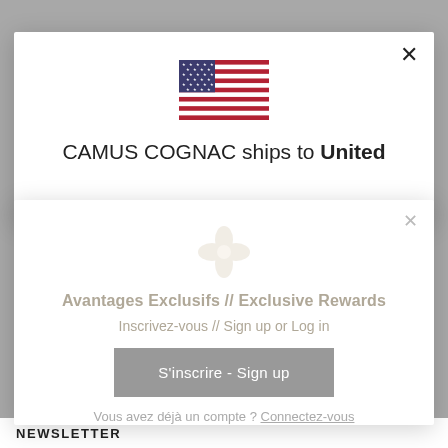[Figure (screenshot): US flag icon centered in modal dialog]
CAMUS COGNAC ships to United
[Figure (logo): Camus four-leaf clover/cross logo icon in gold/beige, semi-transparent]
Avantages Exclusifs // Exclusive Rewards
Inscrivez-vous // Sign up or Log in
S'inscrire - Sign up
Vous avez déjà un compte ? Connectez-vous
NEWSLETTER